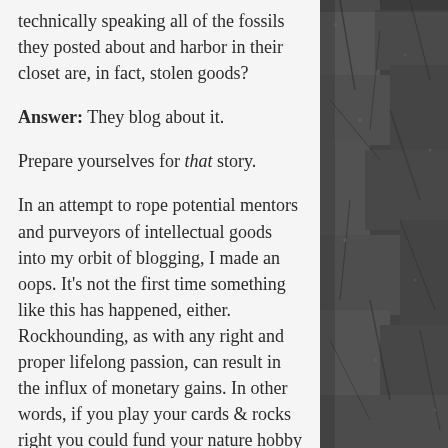technically speaking all of the fossils they posted about and harbor in their closet are, in fact, stolen goods?
Answer: They blog about it.
Prepare yourselves for that story.
In an attempt to rope potential mentors and purveyors of intellectual goods into my orbit of blogging, I made an oops. It's not the first time something like this has happened, either. Rockhounding, as with any right and proper lifelong passion, can result in the influx of monetary gains. In other words, if you play your cards & rocks right you could fund your nature hobby and fill
[Figure (photo): Dark grey rocky stone texture photograph occupying the right column of the page]